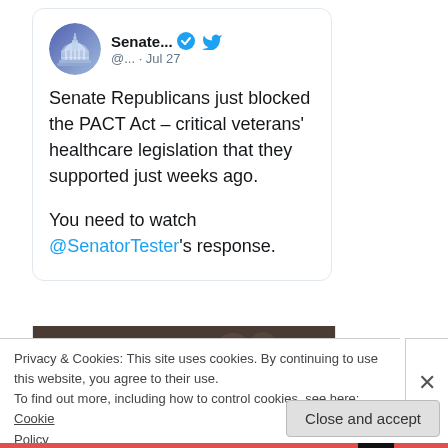[Figure (screenshot): Tweet from Senate account (@...) posted Jul 27. Shows verified badge and Twitter bird logo. Avatar is a Capitol building icon on blue-purple gradient background.]
Senate Republicans just blocked the PACT Act – critical veterans' healthcare legislation that they supported just weeks ago.

You need to watch @SenatorTester's response.
[Figure (photo): Partial photo of a man (Senator Tester) seated, viewed from behind/side, indoors.]
Privacy & Cookies: This site uses cookies. By continuing to use this website, you agree to their use.
To find out more, including how to control cookies, see here: Cookie Policy
Close and accept